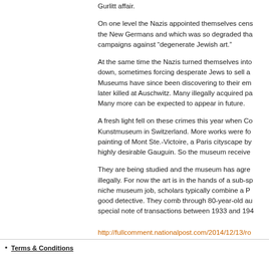Gurlitt affair.
On one level the Nazis appointed themselves cens the New Germans and which was so degraded tha campaigns against “degenerate Jewish art.”
At the same time the Nazis turned themselves into down, sometimes forcing desperate Jews to sell a Museums have since been discovering to their em later killed at Auschwitz. Many illegally acquired pa Many more can be expected to appear in future.
A fresh light fell on these crimes this year when Co Kunstmuseum in Switzerland. More works were fo painting of Mont Ste.-Victoire, a Paris cityscape by highly desirable Gauguin. So the museum receive
They are being studied and the museum has agre illegally. For now the art is in the hands of a sub-sp niche museum job, scholars typically combine a P good detective. They comb through 80-year-old au special note of transactions between 1933 and 194
http://fullcomment.nationalpost.com/2014/12/13/ro
Terms & Conditions